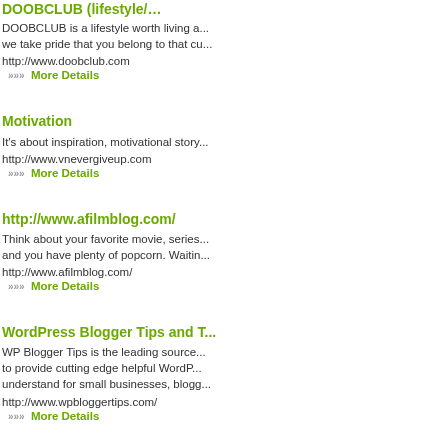DOOBCLUB (lifestyle/...): DOOBCLUB is a lifestyle worth living a... we take pride that you belong to that cu...
http://www.doobclub.com
»»» More Details
Motivation
It's about inspiration, motivational story...
http://www.vnevergiveup.com
»»» More Details
http://www.afilmblog.com/
Think about your favorite movie, series... and you have plenty of popcorn. Waitin...
http://www.afilmblog.com/
»»» More Details
WordPress Blogger Tips and T...
WP Blogger Tips is the leading source... to provide cutting edge helpful WordP... understand for small businesses, blogg...
http://www.wpbloggertips.com/
»»» More Details
www.mcafee.com/activate | mc...
McAfee Retail Card activation at www.... Free 1-844-296-4279 (USA & Canada)...
http://mcafee-activate.info/